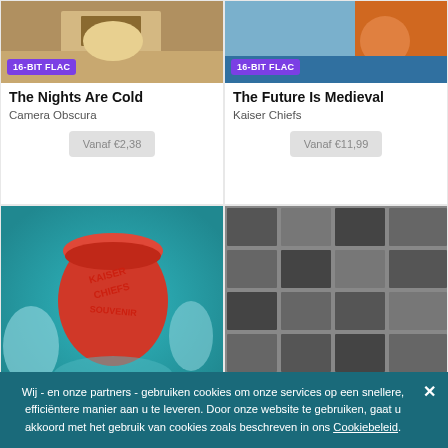[Figure (photo): Album cover for The Nights Are Cold by Camera Obscura with 16-BIT FLAC badge]
The Nights Are Cold
Camera Obscura
Vanaf €2,38
[Figure (photo): Album cover for The Future Is Medieval by Kaiser Chiefs with 16-BIT FLAC badge]
The Future Is Medieval
Kaiser Chiefs
Vanaf €11,99
[Figure (photo): Kaiser Chiefs Souvenir album art - red cup with water splash with 16-BIT FLAC badge]
[Figure (photo): Rolling Stones Exile on Main St. style black and white photo collage album art with 16-BIT FLAC badge]
Wij - en onze partners - gebruiken cookies om onze services op een snellere, efficiëntere manier aan u te leveren. Door onze website te gebruiken, gaat u akkoord met het gebruik van cookies zoals beschreven in ons Cookiebeleid.